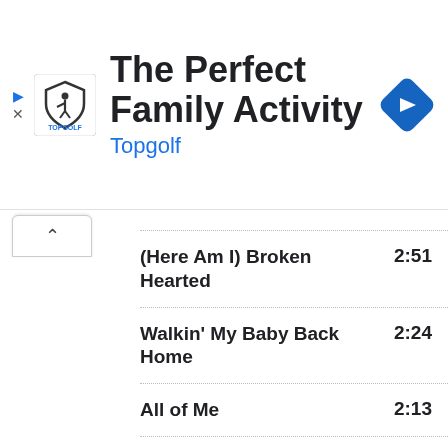[Figure (screenshot): Topgolf advertisement banner with logo, title 'The Perfect Family Activity', brand name 'Topgolf', and a blue navigation arrow icon]
| Song Title | Duration |
| --- | --- |
| (Here Am I) Broken Hearted | 2:51 |
| Walkin' My Baby Back Home | 2:24 |
| All of Me | 2:13 |
| Faith Can Move Mountains | 2:41 |
| It's the Talk of the Town | 2:55 |
| Nobody's Sweetheart | 2:15 |